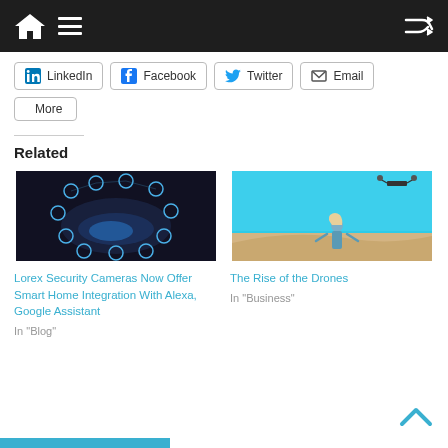Navigation bar with home, menu, and shuffle icons
LinkedIn
Facebook
Twitter
Email
More
Related
[Figure (photo): Hand holding a tablet with glowing blue smart home technology icons floating around it]
Lorex Security Cameras Now Offer Smart Home Integration With Alexa, Google Assistant
In "Blog"
[Figure (photo): Woman standing on a sandy beach or dune with arms outstretched against a bright blue sky, with a drone visible above]
The Rise of the Drones
In "Business"